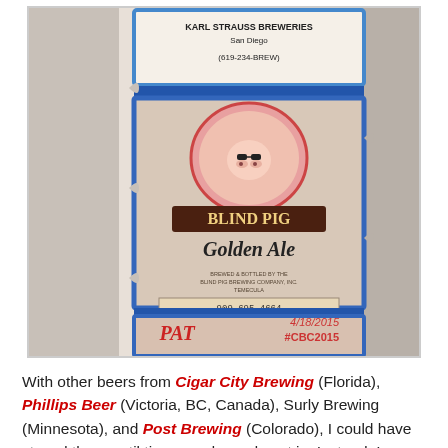[Figure (photo): Photo of beer tap handles displayed as a puzzle/collage, including Karl Strauss Breweries San Diego 619-234-BREW, Blind Pig Golden Ale, and other brewery labels. Timestamp 4/18/2015 #CBC2015 visible in lower right.]
With other beers from Cigar City Brewing (Florida), Phillips Beer (Victoria, BC, Canada), Surly Brewing (Minnesota), and Post Brewing (Colorado), I could have stayed there until tipsy panda mode set in. Instead, I ventured to my next destination.